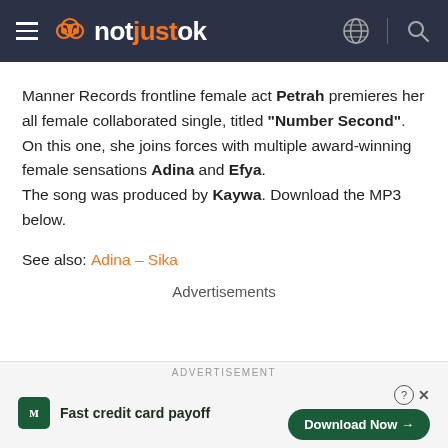notjustok
Manner Records frontline female act Petrah premieres her all female collaborated single, titled “Number Second”. On this one, she joins forces with multiple award-winning female sensations Adina and Efya. The song was produced by Kaywa. Download the MP3 below.
See also: Adina – Sika
Advertisements
ADVERTISEMENT | Fast credit card payoff | Download Now